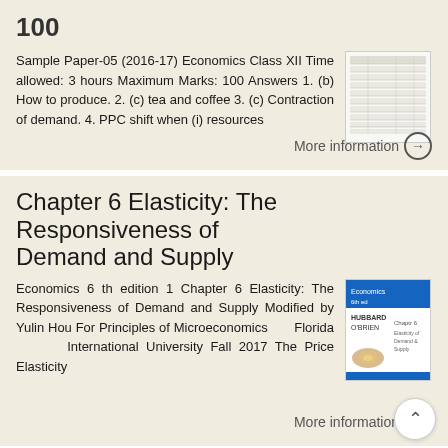100
Sample Paper-05 (2016-17) Economics Class XII Time allowed: 3 hours Maximum Marks: 100 Answers 1. (b) How to produce. 2. (c) tea and coffee 3. (c) Contraction of demand. 4. PPC shift when (i) resources
More information →
Chapter 6 Elasticity: The Responsiveness of Demand and Supply
Economics 6 th edition 1 Chapter 6 Elasticity: The Responsiveness of Demand and Supply Modified by Yulin Hou For Principles of Microeconomics Florida International University Fall 2017 The Price Elasticity
More information →
CHAPTER 11 Consumer Preferences &